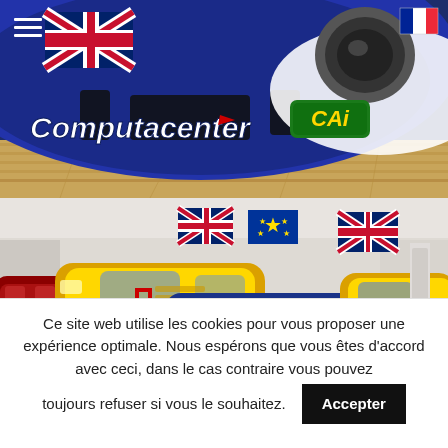[Figure (photo): Close-up of a blue racing car nose with Union Jack flag, 'Computacenter' branding text in white italic, a green 'CAi' sponsor sticker, and a headlight. Car is displayed on a wooden floor. Menu hamburger icon top-left, French flag top-right.]
[Figure (photo): Indoor car showroom with multiple collector cars: a red car on the left, a yellow sports car in the center, a blue and white classic car in front, and a yellow car on the right. Union Jack flags and EU flag banners hang in the background. Bright white showroom interior.]
Ce site web utilise les cookies pour vous proposer une expérience optimale. Nous espérons que vous êtes d'accord avec ceci, dans le cas contraire vous pouvez toujours refuser si vous le souhaitez.